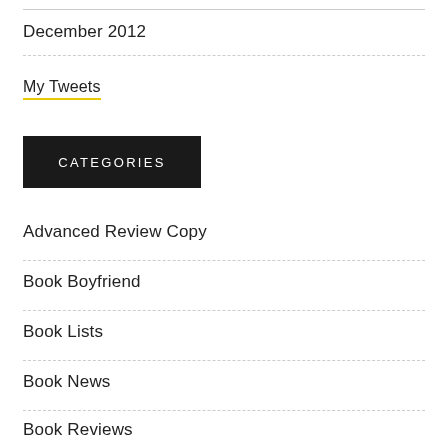December 2012
My Tweets
CATEGORIES
Advanced Review Copy
Book Boyfriend
Book Lists
Book News
Book Reviews